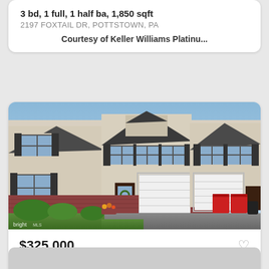3 bd, 1 full, 1 half ba, 1,850 sqft
2197 FOXTAIL DR, POTTSTOWN, PA
Courtesy of Keller Williams Platinu...
[Figure (photo): Exterior photo of a two-story townhouse with beige/cream siding, black shutters, white garage door, red trash cans on driveway, brick accents, and landscaped front yard. Bright MLS watermark in bottom left.]
$325,000
3 bd, 2 full, 1 half ba, 1,776 sqft
1109 SAGEVIEW DR, POTTSTOWN, PA
Courtesy of Styer Real Estate